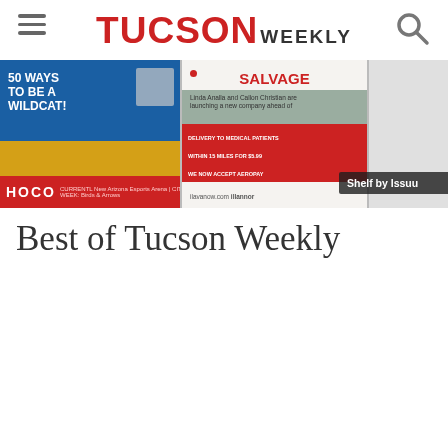TUCSON WEEKLY
[Figure (screenshot): Tucson Weekly magazine shelf showing two magazine covers: '50 Ways to Be a Wildcat' and 'Salvage', with a 'Shelf by Issuu' label overlay]
Best of Tucson Weekly